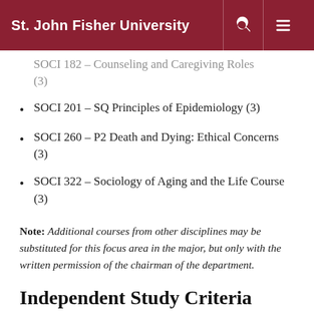St. John Fisher University
SOCI 182 – Counseling and Caregiving Roles (3)
SOCI 201 – SQ Principles of Epidemiology (3)
SOCI 260 – P2 Death and Dying: Ethical Concerns (3)
SOCI 322 – Sociology of Aging and the Life Course (3)
Note: Additional courses from other disciplines may be substituted for this focus area in the major, but only with the written permission of the chairman of the department.
Independent Study Criteria